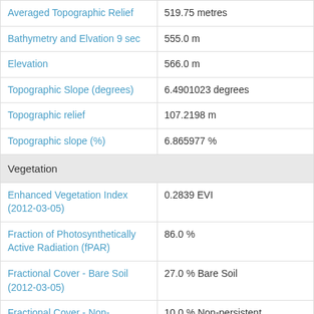| Attribute | Value |
| --- | --- |
| Averaged Topographic Relief | 519.75 metres |
| Bathymetry and Elvation 9 sec | 555.0 m |
| Elevation | 566.0 m |
| Topographic Slope (degrees) | 6.4901023 degrees |
| Topographic relief | 107.2198 m |
| Topographic slope (%) | 6.865977 % |
| Vegetation |  |
| Enhanced Vegetation Index (2012-03-05) | 0.2839 EVI |
| Fraction of Photosynthetically Active Radiation (fPAR) | 86.0 % |
| Fractional Cover - Bare Soil (2012-03-05) | 27.0 % Bare Soil |
| Fractional Cover - Non-persistent Vegetation (2012-03-05) | 10.0 % Non-persistent Vegetation |
| Fractional Cover - Persistent | 62.0 % Persistent Vegetation |